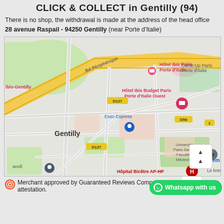CLICK & COLLECT in Gentilly (94)
There is no shop, the withdrawal is made at the address of the head office
28 avenue Raspail - 94250 Gentilly (near Porte d'Italie)
[Figure (map): Google Maps screenshot showing the Gentilly area near Paris, featuring landmarks including Hôtel ibis Paris Porte d'Italie, Climb Up Paris Porte d'Italie, Hôtel Ibis Budget Paris Porte d'Italie Ouest, Esso Express, Université Paris-Saclay - Faculté de Médecine, Hôpital Bicêtre AP-HP, and Sanofi. Road labels include Bd Périphérique, D127, D50.]
Merchant approved by Guaranteed Reviews Company, clic here attestation.